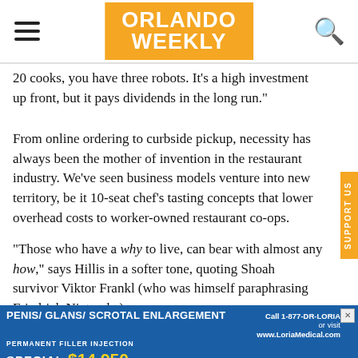Orlando Weekly
20 cooks, you have three robots. It's a high investment up front, but it pays dividends in the long run."
From online ordering to curbside pickup, necessity has always been the mother of invention in the restaurant industry. We've seen business models venture into new territory, be it 10-seat chef's tasting concepts that lower overhead costs to worker-owned restaurant co-ops.
"Those who have a why to live, can bear with almost any how," says Hillis in a softer tone, quoting Shoah survivor Viktor Frankl (who was himself paraphrasing Friedrich Nietzsche).
[Figure (other): Advertisement banner for Loria Medical: Penis/Glans/Scrotal Enlargement, Permanent Filler Injection, Special $14,950, Call 1-877-DR-LORIA or visit www.LoriaMedical.com]